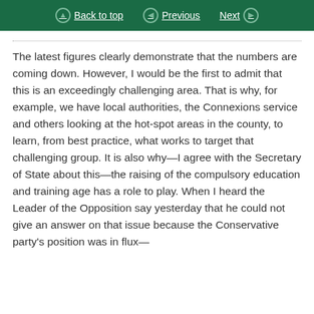Back to top | Previous | Next
The latest figures clearly demonstrate that the numbers are coming down. However, I would be the first to admit that this is an exceedingly challenging area. That is why, for example, we have local authorities, the Connexions service and others looking at the hot-spot areas in the county, to learn, from best practice, what works to target that challenging group. It is also why—I agree with the Secretary of State about this—the raising of the compulsory education and training age has a role to play. When I heard the Leader of the Opposition say yesterday that he could not give an answer on that issue because the Conservative party's position was in flux—